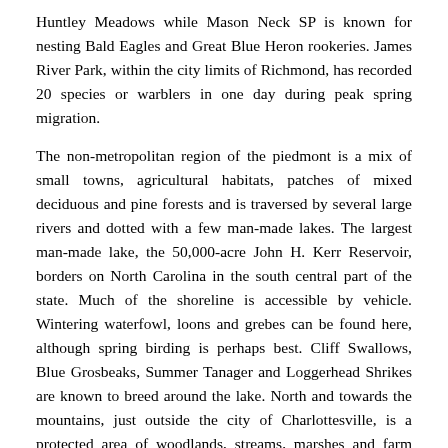Huntley Meadows while Mason Neck SP is known for nesting Bald Eagles and Great Blue Heron rookeries. James River Park, within the city limits of Richmond, has recorded 20 species or warblers in one day during peak spring migration.
The non-metropolitan region of the piedmont is a mix of small towns, agricultural habitats, patches of mixed deciduous and pine forests and is traversed by several large rivers and dotted with a few man-made lakes. The largest man-made lake, the 50,000-acre John H. Kerr Reservoir, borders on North Carolina in the south central part of the state. Much of the shoreline is accessible by vehicle. Wintering waterfowl, loons and grebes can be found here, although spring birding is perhaps best. Cliff Swallows, Blue Grosbeaks, Summer Tanager and Loggerhead Shrikes are known to breed around the lake. North and towards the mountains, just outside the city of Charlottesville, is a protected area of woodlands, streams, marshes and farm fields known as the Ivy Creek natural Area. Wild Turkeys are permanent residents here. Woodland species, such as